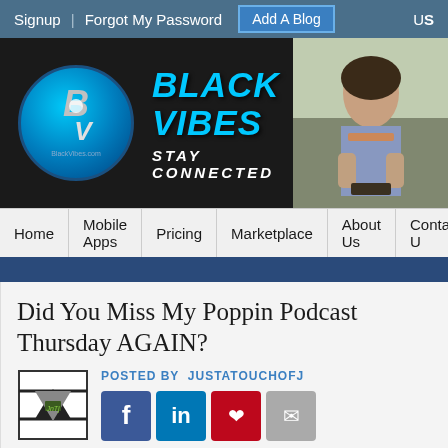Signup | Forgot My Password  Add A Blog  US
[Figure (screenshot): Black Vibes website banner with circular logo, 'BLACK VIBES STAY CONNECTED' text, and photo of a woman looking at her phone]
Home | Mobile Apps | Pricing | Marketplace | About Us | Contact U
Did You Miss My Poppin Podcast Thursday AGAIN?
POSTED BY JUSTATOUCHOFJ
[Figure (infographic): Social share buttons: Facebook, LinkedIn, Pinterest, Email]
Tweet
Thank you for making my...